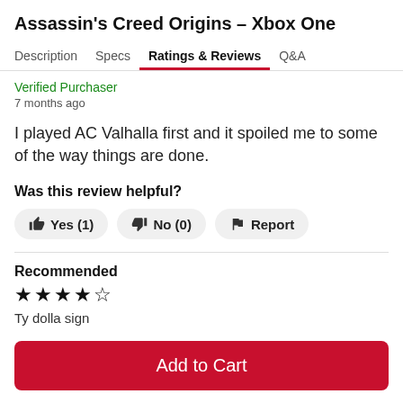Assassin's Creed Origins – Xbox One
Description  Specs  Ratings & Reviews  Q&A
Verified Purchaser
7 months ago
I played AC Valhalla first and it spoiled me to some of the way things are done.
Was this review helpful?
Yes (1)  No (0)  Report
Recommended
★★★★☆
Ty dolla sign
Add to Cart